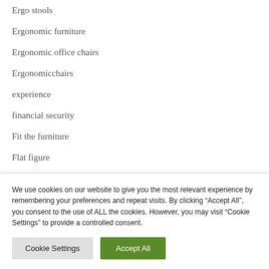Ergo stools
Ergonomic furniture
Ergonomic office chairs
Ergonomicchairs
experience
financial security
Fit the furniture
Flat figure
We use cookies on our website to give you the most relevant experience by remembering your preferences and repeat visits. By clicking “Accept All”, you consent to the use of ALL the cookies. However, you may visit “Cookie Settings” to provide a controlled consent.
Cookie Settings | Accept All